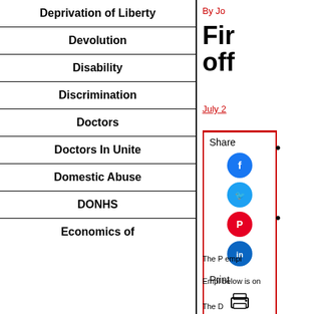Deprivation of Liberty
Devolution
Disability
Discrimination
Doctors
Doctors In Unite
Domestic Abuse
DONHS
Economics of
By Jo
Fir off
July 2
Share
Print
The P empl
Empl below is on
The D